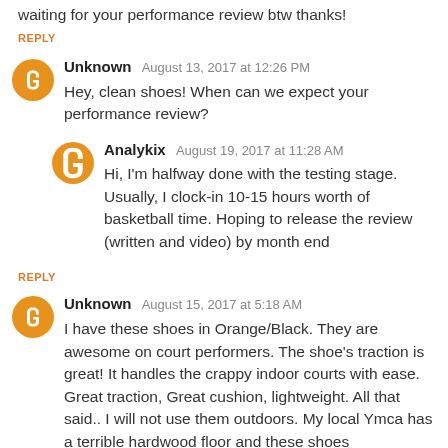waiting for your performance review btw thanks!
REPLY
Unknown   August 13, 2017 at 12:26 PM
Hey, clean shoes! When can we expect your performance review?
Analykix   August 19, 2017 at 11:28 AM
Hi, I'm halfway done with the testing stage. Usually, I clock-in 10-15 hours worth of basketball time. Hoping to release the review (written and video) by month end
REPLY
Unknown   August 15, 2017 at 5:18 AM
I have these shoes in Orange/Black. They are awesome on court performers. The shoe's traction is great! It handles the crappy indoor courts with ease. Great traction, Great cushion, lightweight. All that said.. I will not use them outdoors. My local Ymca has a terrible hardwood floor and these shoes